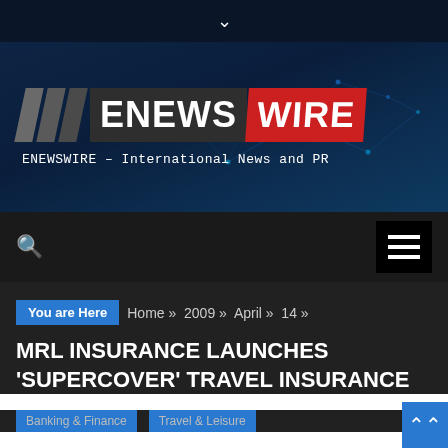[Figure (logo): ENewsWire logo with diagonal slash marks, dark background and red accent, with tagline 'ENEWSWIRE – International News and PR' and network/tech background illustration]
ENEWSWIRE – International News and PR
You are Here  Home » 2009 » April » 14 »
MRL INSURANCE LAUNCHES 'SUPERCOVER' TRAVEL INSURANCE
Banking & Finance   Travel & Leisure